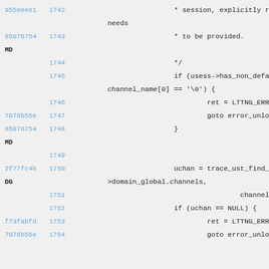Code view showing git blame output with commit hashes, line numbers, and C source code lines 1742-1754
| commit | line | code |
| --- | --- | --- |
| 9550ee81 | 1742 |                         * session, explicitly re |
|  |  |         needs |
| 85076754 | 1743 |                         * to be provided. |
| MD |  |  |
|  | 1744 |                         */ |
|  | 1745 |                         if (usess->has_non_defaul |
|  |  |         channel_name[0] == '\0') { |
|  | 1746 |                                 ret = LTTNG_ERR_N |
| 7076b56e | 1747 |                                 goto error_unlock |
| 85076754 | 1748 |                         } |
| MD |  |  |
|  | 1749 |  |
| 2f77fc4b | 1750 |                         uchan = trace_ust_find_ch |
| DG |  |         >domain_global.channels, |
|  | 1751 |                                         channel_n |
|  | 1752 |                         if (uchan == NULL) { |
| f73fabfd | 1753 |                                 ret = LTTNG_ERR_U |
| 7076b56e | 1754 |                                 goto error_unlock |